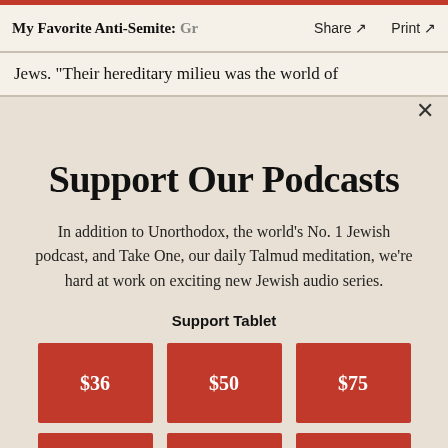My Favorite Anti-Semite: Gr  Share ↗  Print ↗
Jews. "Their hereditary milieu was the world of
Support Our Podcasts
In addition to Unorthodox, the world's No. 1 Jewish podcast, and Take One, our daily Talmud meditation, we're hard at work on exciting new Jewish audio series.
Support Tablet
$36  $50  $75